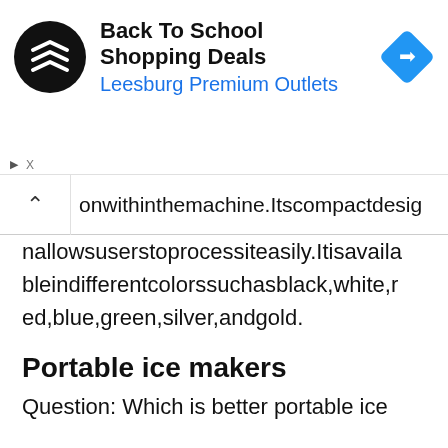[Figure (infographic): Advertisement banner for Back To School Shopping Deals at Leesburg Premium Outlets, with a circular black logo with double arrow, bold title text, blue subtitle, and a blue diamond-shaped navigation icon.]
onwithinthemachine.Itscompactdesig
nallowsuserstoprocessiteasily.Itisavaila bleindifferentcolorssuchasblack,white,r ed,blue,green,silver,andgold.
Portable ice makers
Question: Which is better portable ice